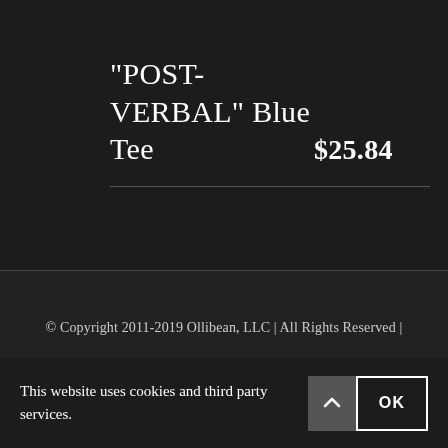"POST-VERBAL" Blue Tee
$25.84
© Copyright 2011-2019 Ollibean, LLC | All Rights Reserved |
This website uses cookies and third party services.